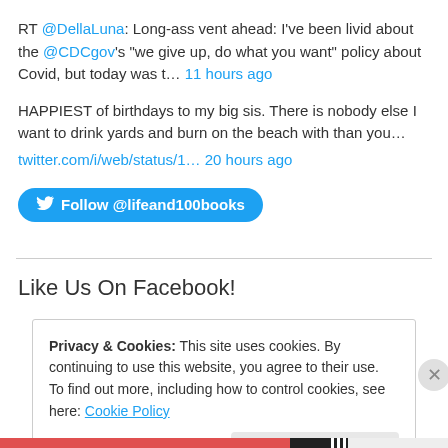RT @DellaLuna: Long-ass vent ahead: I've been livid about the @CDCgov's "we give up, do what you want" policy about Covid, but today was t… 11 hours ago
HAPPIEST of birthdays to my big sis. There is nobody else I want to drink yards and burn on the beach with than you… twitter.com/i/web/status/1… 20 hours ago
Follow @lifeand100books
Like Us On Facebook!
Privacy & Cookies: This site uses cookies. By continuing to use this website, you agree to their use. To find out more, including how to control cookies, see here: Cookie Policy
Close and accept